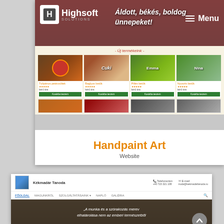[Figure (screenshot): Screenshot of Handpaint Art website with Highsoft Solutions logo in header, hero image with Hungarian holiday text, product grid showing painted cookie and letter products with green 'Kosárba teszem' buttons, section title '- Új termékeink -']
Handpaint Art
Website
[Figure (screenshot): Screenshot of Kékmadár Tanoda website with logo, navigation menu (FŐOLDAL, MAGUNKRÓL, SZOLGÁLTATÁSAINK, NAPLÓ, GALÉRIA), and hero section with quote 'A munka és a szórakozás merev elhatárolása nem az emberi természetből']